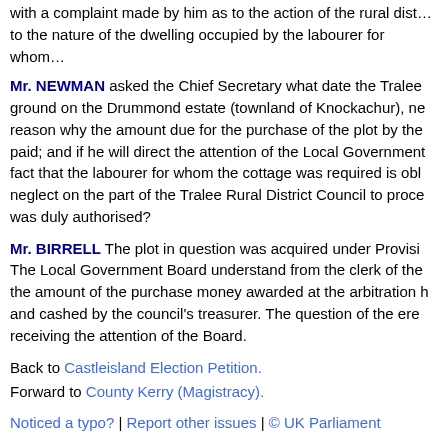with a complaint made by him as to the action of the rural dist... to the nature of the dwelling occupied by the labourer for whom...
Mr. NEWMAN asked the Chief Secretary what date the Tralee... ground on the Drummond estate (townland of Knockachur), ne... reason why the amount due for the purchase of the plot by the... paid; and if he will direct the attention of the Local Government... fact that the labourer for whom the cottage was required is obl... neglect on the part of the Tralee Rural District Council to proce... was duly authorised?
Mr. BIRRELL The plot in question was acquired under Provisi... The Local Government Board understand from the clerk of the... the amount of the purchase money awarded at the arbitration h... and cashed by the council's treasurer. The question of the ere... receiving the attention of the Board.
Back to Castleisland Election Petition.
Forward to County Kerry (Magistracy).
Noticed a typo? | Report other issues | © UK Parliament